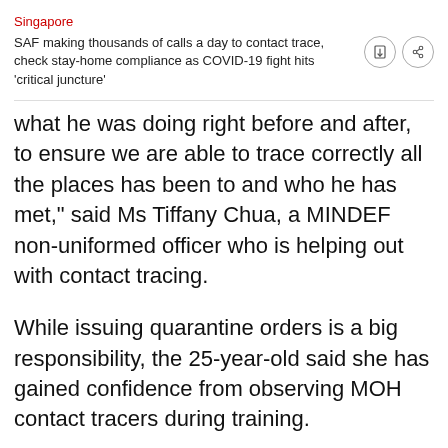Singapore
SAF making thousands of calls a day to contact trace, check stay-home compliance as COVID-19 fight hits 'critical juncture'
what he was doing right before and after, to ensure we are able to trace correctly all the places has been to and who he has met," said Ms Tiffany Chua, a MINDEF non-uniformed officer who is helping out with contact tracing.
While issuing quarantine orders is a big responsibility, the 25-year-old said she has gained confidence from observing MOH contact tracers during training.
"Four of us (from my department) volunteered for it because we thought it was very meaningful work, and we wanted to play a part in helping the nation's efforts," she added.